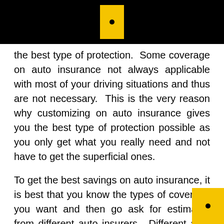the best type of protection. Some coverage on auto insurance not always applicable with most of your driving situations and thus are not necessary. This is the very reason why customizing on auto insurance gives you the best type of protection possible as you only get what you really need and not have to get the superficial ones.
To get the best savings on auto insurance, it is best that you know the types of coverage you want and then go ask for estimates from different auto insurers. Different auto insurers will yield different types of quotes. Once you are able to get quotes and compare them with each other, you will be able to choose which insurer to go to. The insurer you think provides the best deal will be the one where you will